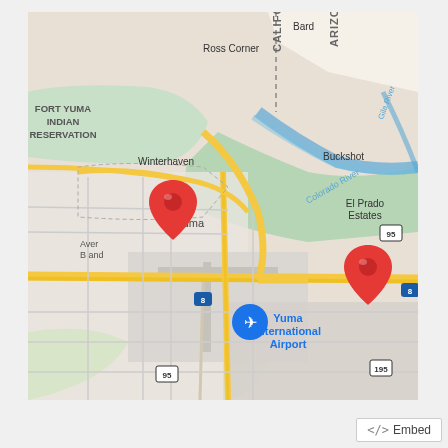[Figure (map): Google Maps view of Yuma, Arizona area showing the Colorado River, Fort Yuma Indian Reservation, Winterhaven, Buckshot, El Prado Estates, and Yuma International Airport. Two red location pins are visible: one near Ave B and (left-center area of Yuma) and one east of the airport along Interstate 8. Blue marker for Yuma International Airport. Roads including US-95, Interstate 8, and State Route 195 are shown. California-Arizona state border visible in upper right.]
</> Embed